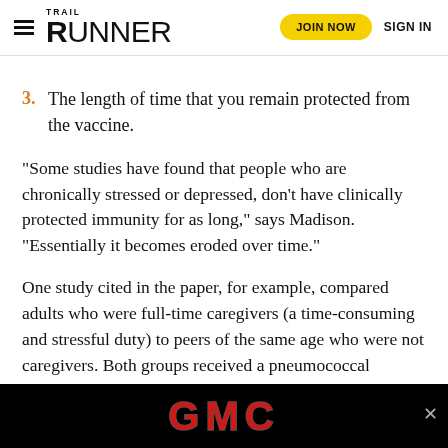Trail Runner — JOIN NOW  SIGN IN
3. The length of time that you remain protected from the vaccine.
“Some studies have found that people who are chronically stressed or depressed, don’t have clinically protected immunity for as long,” says Madison. “Essentially it becomes eroded over time.”
One study cited in the paper, for example, compared adults who were full-time caregivers (a time-consuming and stressful duty) to peers of the same age who were not caregivers. Both groups received a pneumococcal pneumonia vaccine, but the caregiver group experienced a decline in their antibody levels more qu… iggest that it w…
[Figure (other): GMC advertisement banner (black background, red GMC logo text) with close button]